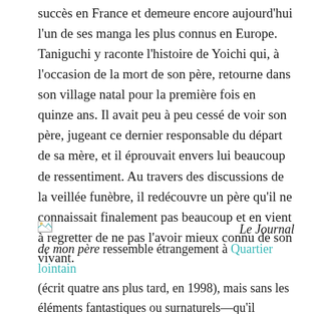succès en France et demeure encore aujourd'hui l'un de ses manga les plus connus en Europe. Taniguchi y raconte l'histoire de Yoichi qui, à l'occasion de la mort de son père, retourne dans son village natal pour la première fois en quinze ans. Il avait peu à peu cessé de voir son père, jugeant ce dernier responsable du départ de sa mère, et il éprouvait envers lui beaucoup de ressentiment. Au travers des discussions de la veillée funèbre, il redécouvre un père qu'il ne connaissait finalement pas beaucoup et en vient à regretter de ne pas l'avoir mieux connu de son vivant.
[Figure (illustration): Small broken image icon placeholder]
Le Journal de mon père ressemble étrangement à Quartier lointain (écrit quatre ans plus tard, en 1998), mais sans les éléments fantastiques ou surnaturels—qu'il réussisse à raconter une telle histoire en l'ancrant dans le quotidien